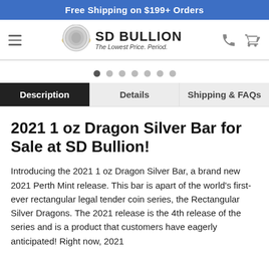Free Shipping on $199+ Orders
[Figure (logo): SD Bullion logo with coin image and tagline 'The Lowest Price. Period.']
Description | Details | Shipping & FAQs
2021 1 oz Dragon Silver Bar for Sale at SD Bullion!
Introducing the 2021 1 oz Dragon Silver Bar, a brand new 2021 Perth Mint release. This bar is apart of the world's first-ever rectangular legal tender coin series, the Rectangular Silver Dragons. The 2021 release is the 4th release of the series and is a product that customers have eagerly anticipated! Right now, 2021